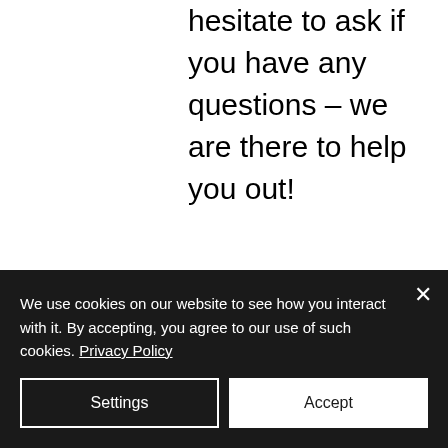hesitate to ask if you have any questions – we are there to help you out!
[Figure (other): Link/chain icon]
Recent Posts
See All
[Figure (photo): Photo of a person, partially visible, used as a recent post thumbnail]
We use cookies on our website to see how you interact with it. By accepting, you agree to our use of such cookies. Privacy Policy
Settings
Accept